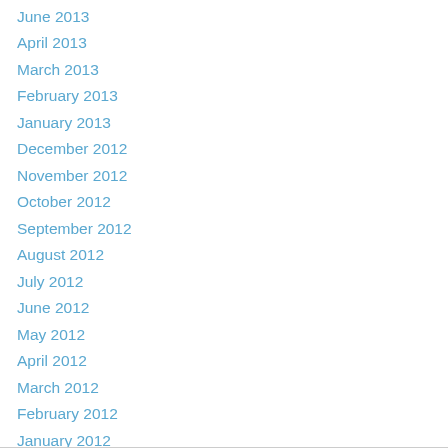June 2013
April 2013
March 2013
February 2013
January 2013
December 2012
November 2012
October 2012
September 2012
August 2012
July 2012
June 2012
May 2012
April 2012
March 2012
February 2012
January 2012
December 2011